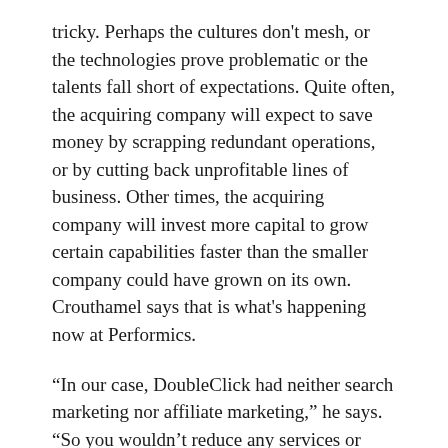tricky. Perhaps the cultures don't mesh, or the technologies prove problematic or the talents fall short of expectations. Quite often, the acquiring company will expect to save money by scrapping redundant operations, or by cutting back unprofitable lines of business. Other times, the acquiring company will invest more capital to grow certain capabilities faster than the smaller company could have grown on its own. Crouthamel says that is what's happening now at Performics.
“In our case, DoubleClick had neither search marketing nor affiliate marketing,” he says. “So you wouldn’t reduce any services or people in a business that’s growing as fast as our segment is growing. You actually see more resources put against it.”
In the case of ValueClick, the acquisition of both the